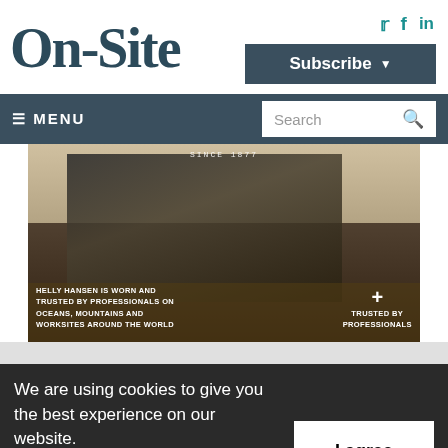On-Site
[Figure (screenshot): Social media icons for Twitter, Facebook, LinkedIn in teal color]
[Figure (screenshot): Subscribe button with dropdown arrow on dark blue-grey background]
≡ MENU
[Figure (screenshot): Search box with magnifying glass icon]
[Figure (photo): Helly Hansen advertisement banner showing construction worker with tools. Text reads: SINCE 1877 / HELLY HANSEN IS WORN AND TRUSTED BY PROFESSIONALS ON OCEANS, MOUNTAINS AND WORKSITES AROUND THE WORLD / + TRUSTED BY PROFESSIONALS]
We are using cookies to give you the best experience on our website.
By continuing to use the site, you agree to the use of cookies. To find out more, read our privacy policy.
[Figure (screenshot): I agree button (white on dark background) for cookie consent]